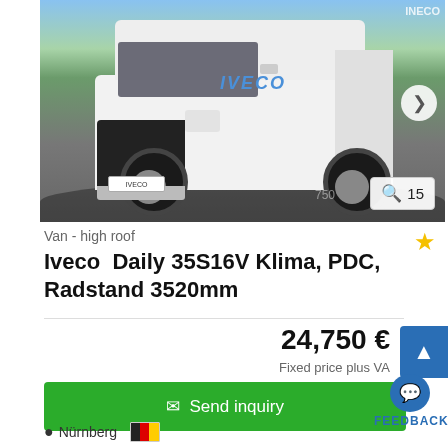[Figure (photo): White Iveco Daily high-roof van parked in a dealer lot, front 3/4 view. IVECO logo visible on the front. Other white vehicles and signage in background. Image slideshow with navigation arrow and counter showing 15 photos.]
Van - high roof
Iveco  Daily 35S16V Klima, PDC, Radstand 3520mm
24,750 €
Fixed price plus VAT
✉ Send inquiry
FEEDBACK
Nürnberg